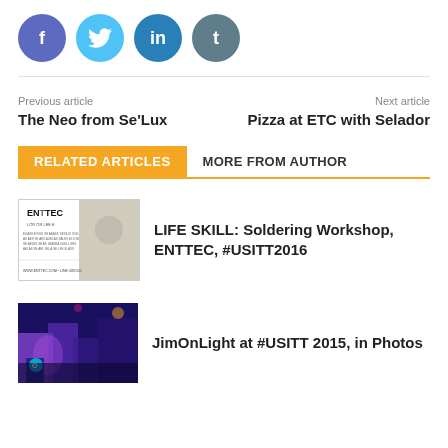[Figure (infographic): Row of four social media sharing icons: Facebook (purple), Twitter (light blue), LinkedIn (dark blue), Tumblr (dark grey)]
Previous article
The Neo from Se'Lux
Next article
Pizza at ETC with Selador
RELATED ARTICLES   MORE FROM AUTHOR
[Figure (photo): ENTTEC product advertisement thumbnail showing brand name and product details]
LIFE SKILL: Soldering Workshop, ENTTEC, #USITT2016
[Figure (photo): JimOnLight at USITT 2015 - colorful stage lighting photo with purple and blue lights]
JimOnLight at #USITT 2015, in Photos